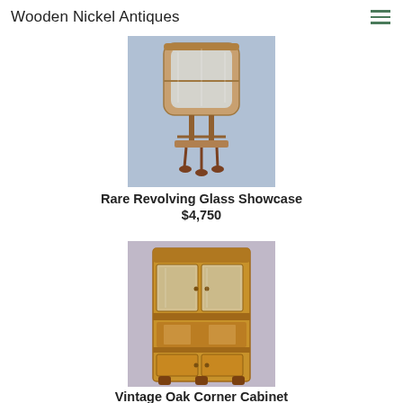Wooden Nickel Antiques
[Figure (photo): Antique revolving glass showcase with ornate wooden frame on claw feet, displayed against a blue background]
Rare Revolving Glass Showcase
$4,750
[Figure (photo): Vintage oak corner cabinet with glass doors on upper section and wooden doors on lower section, displayed against a blue background]
Vintage Oak Corner Cabinet
$1,750